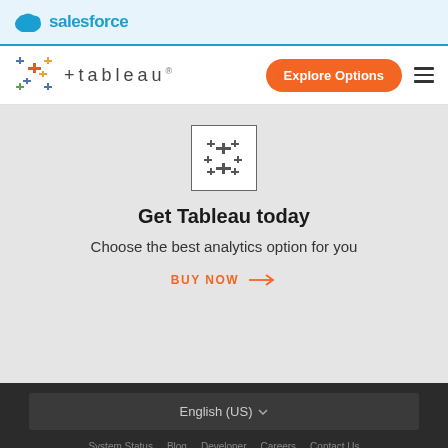salesforce
[Figure (logo): Tableau logo with colorful plus-signs icon and text '+tableau']
Explore Options
[Figure (logo): Tableau square icon with cross/plus pattern]
Get Tableau today
Choose the best analytics option for you
BUY NOW →
English (US) ▼
System Status   Blog   Developer   Careers   Contact Us